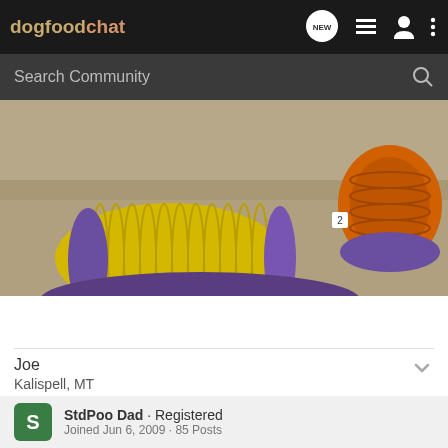[Figure (screenshot): dogfoodchat website navigation bar with logo, NEW chat icon, list icon, user icon, and menu icon on dark background]
[Figure (screenshot): Search Community search bar on dark grey background]
[Figure (photo): Outdoor photo showing yellow and purple corrugated tunnel/tube agility equipment on a gravel/dirt surface, with orange agility tunnel visible in the background right]
Joe
Kalispell, MT
[Figure (screenshot): Bookmark and share action icons]
StdPoo Dad · Registered
Joined Jun 6, 2009 · 85 Posts